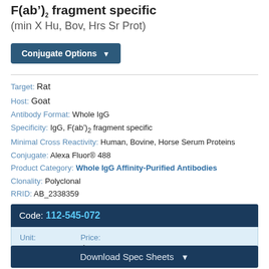F(ab')2 fragment specific (min X Hu, Bov, Hrs Sr Prot)
Conjugate Options
Target: Rat
Host: Goat
Antibody Format: Whole IgG
Specificity: IgG, F(ab')2 fragment specific
Minimal Cross Reactivity: Human, Bovine, Horse Serum Proteins
Conjugate: Alexa Fluor® 488
Product Category: Whole IgG Affinity-Purified Antibodies
Clonality: Polyclonal
RRID: AB_2338359
| Code: | Unit: | Price: |
| --- | --- | --- |
| 112-545-072 | 1.0 mg | $188.00 |
Download Spec Sheets